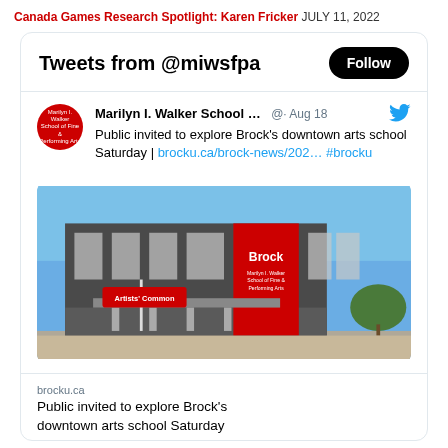Canada Games Research Spotlight: Karen Fricker JULY 11, 2022
[Figure (screenshot): Twitter widget showing tweets from @miwsfpa with a Follow button, and a tweet from Marilyn I. Walker School of Fine & Performing Arts dated Aug 18 with text 'Public invited to explore Brock's downtown arts school Saturday | brocku.ca/brock-news/202… #brocku' and a photo of the Marilyn I. Walker School building with 'Artists Common' street sign and a red Brock banner]
brocku.ca
Public invited to explore Brock's downtown arts school Saturday